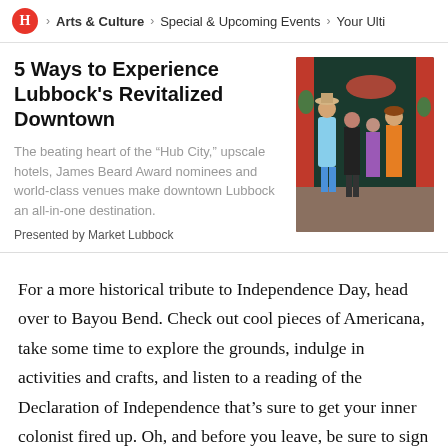H > Arts & Culture > Special & Upcoming Events > Your Ulti
5 Ways to Experience Lubbock's Revitalized Downtown
[Figure (photo): Group of people walking out of a red-framed doorway, dressed in summer clothing]
The beating heart of the “Hub City,” upscale hotels, James Beard Award nominees and world-class venues make downtown Lubbock an all-in-one destination.
Presented by Market Lubbock
For a more historical tribute to Independence Day, head over to Bayou Bend. Check out cool pieces of Americana, take some time to explore the grounds, indulge in activities and crafts, and listen to a reading of the Declaration of Independence that’s sure to get your inner colonist fired up. Oh, and before you leave, be sure to sign